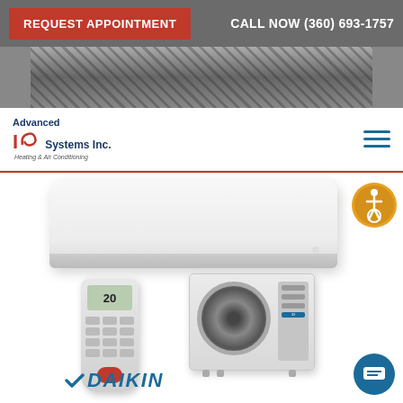REQUEST APPOINTMENT | CALL NOW (360) 693-1757
[Figure (photo): Hero banner image showing HVAC equipment]
[Figure (logo): Advanced IR Systems Inc. Heating & Air Conditioning logo]
[Figure (photo): Daikin mini-split system showing wall-mounted indoor unit, remote control, and outdoor compressor unit]
[Figure (logo): Daikin brand logo in blue with checkmark]